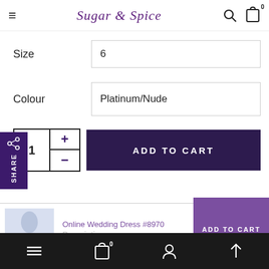Sugar & Spice
Size: 6
Colour: Platinum/Nude
1  +  −  ADD TO CART
Online Wedding Dress #8970  Description  ADD TO CART
Navigation bar: menu, cart (0), account, up